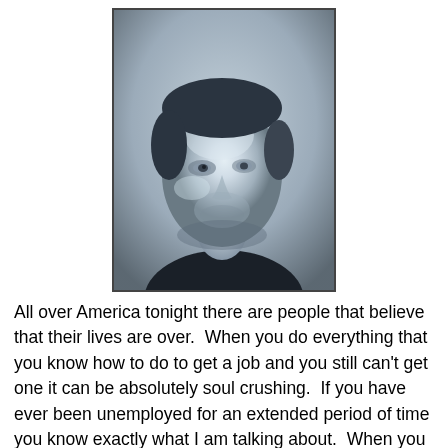[Figure (photo): Black and white close-up portrait photo of a man with short dark hair, stubble beard, looking down or to the side with a serious expression, wearing a dark shirt.]
All over America tonight there are people that believe that their lives are over.  When you do everything that you know how to do to get a job and you still can't get one it can be absolutely soul crushing.  If you have ever been unemployed for an extended period of time you know exactly what I am talking about.  When you have been unemployed for